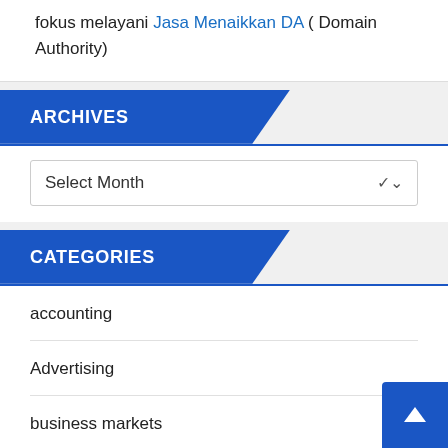fokus melayani Jasa Menaikkan DA ( Domain Authority)
ARCHIVES
[Figure (screenshot): A dropdown select box with text 'Select Month' and a chevron arrow]
CATEGORIES
accounting
Advertising
business markets